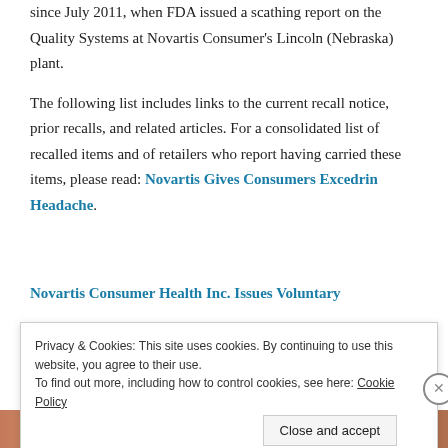since July 2011, when FDA issued a scathing report on the Quality Systems at Novartis Consumer's Lincoln (Nebraska) plant.
The following list includes links to the current recall notice, prior recalls, and related articles. For a consolidated list of recalled items and of retailers who report having carried these items, please read: Novartis Gives Consumers Excedrin Headache.
Novartis Consumer Health Inc. Issues Voluntary
Privacy & Cookies: This site uses cookies. By continuing to use this website, you agree to their use. To find out more, including how to control cookies, see here: Cookie Policy
Close and accept